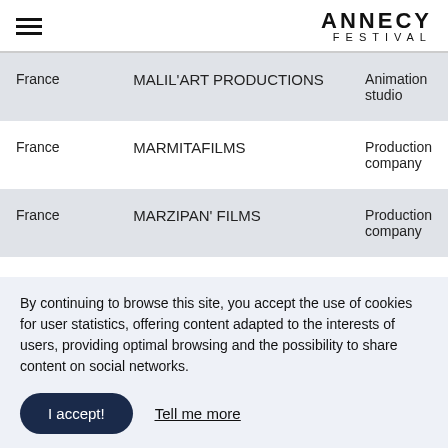ANNECY FESTIVAL
| Country | Company | Type |
| --- | --- | --- |
| France | MALIL'ART PRODUCTIONS | Animation studio |
| France | MARMITAFILMS | Production company |
| France | MARZIPAN' FILMS | Production company |
By continuing to browse this site, you accept the use of cookies for user statistics, offering content adapted to the interests of users, providing optimal browsing and the possibility to share content on social networks.
I accept!  Tell me more